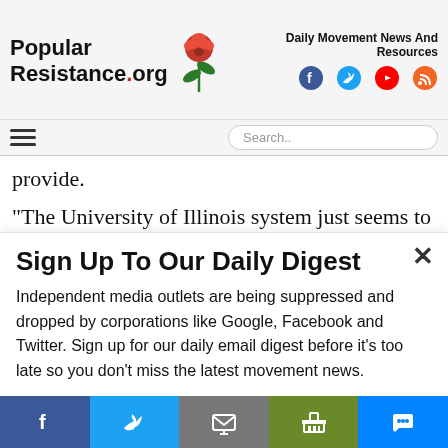PopularResistance.org — Daily Movement News And Resources
provide.
“The University of Illinois system just seems to not care about its employees and is always very hostile
Sign Up To Our Daily Digest
Independent media outlets are being suppressed and dropped by corporations like Google, Facebook and Twitter. Sign up for our daily email digest before it’s too late so you don’t miss the latest movement news.
Email